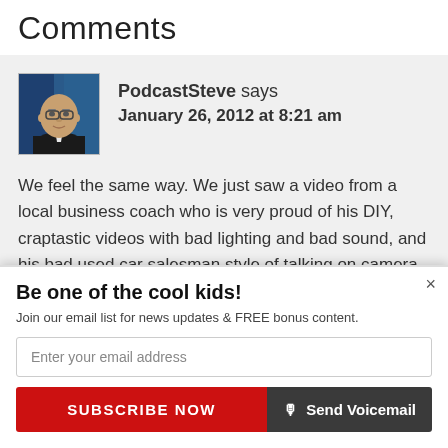Comments
[Figure (photo): Avatar photo of PodcastSteve, a bald man in a dark suit with a blue background]
PodcastSteve says
January 26, 2012 at 8:21 am
We feel the same way. We just saw a video from a local business coach who is very proud of his DIY, craptastic videos with bad lighting and bad sound, and his bad used car salesman style of talking on camera. The theme of his message
Be one of the cool kids!
Join our email list for news updates & FREE bonus content.
Enter your email address
SUBSCRIBE NOW
Send Voicemail